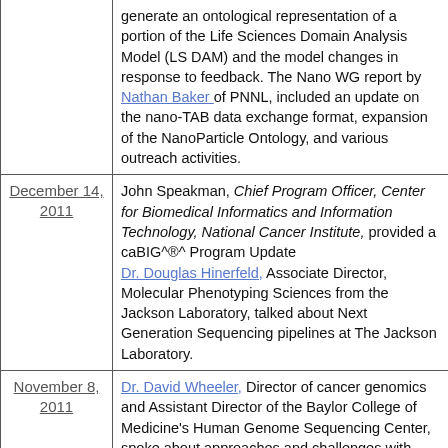| Date | Description |
| --- | --- |
|  | generate an ontological representation of a portion of the Life Sciences Domain Analysis Model (LS DAM) and the model changes in response to feedback. The Nano WG report by Nathan Baker of PNNL, included an update on the nano-TAB data exchange format, expansion of the NanoParticle Ontology, and various outreach activities. |
| December 14, 2011 | John Speakman, Chief Program Officer, Center for Biomedical Informatics and Information Technology, National Cancer Institute, provided a caBIG^®^ Program Update
Dr. Douglas Hinerfeld, Associate Director, Molecular Phenotyping Sciences from the Jackson Laboratory, talked about Next Generation Sequencing pipelines at The Jackson Laboratory. |
| November 8, 2011 | Dr. David Wheeler, Director of cancer genomics and Assistant Director of the Baylor College of Medicine's Human Genome Sequencing Center, spoke about approaches and challenges with next generation sequence data analysis pipelines.
Dr. Aris Floratos, Executive Director of the Columbia University Center for Computational Biology and Bioinformatics talked about the Columbia In Silico Center of Research Excellence (ISRCE) and their |